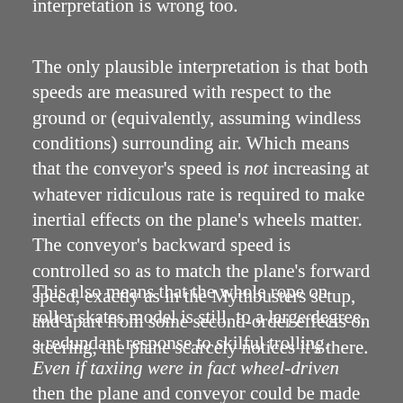interpretation is wrong too.
The only plausible interpretation is that both speeds are measured with respect to the ground or (equivalently, assuming windless conditions) surrounding air. Which means that the conveyor's speed is not increasing at whatever ridiculous rate is required to make inertial effects on the plane's wheels matter. The conveyor's backward speed is controlled so as to match the plane's forward speed, exactly as in the Mythbusters setup, and apart from some second-order effects on steering, the plane scarcely notices it's there.
This also means that the whole rope on roller skates model is still, to a large degree, a redundant response to skilful trolling. Even if taxiing were in fact wheel-driven then the plane and conveyor could be made to move as described. Achieving takeoff under these conditions might require modifications to the gear train driving the wheels, because